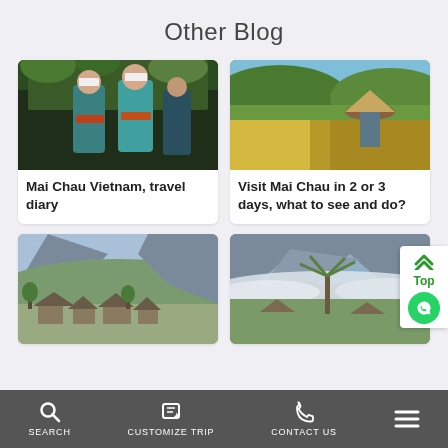Other Blog
[Figure (photo): Two women in traditional Vietnamese attire (teal/turquoise tops with embroidered bands, white head scarves) carrying items, standing on wooden steps surrounded by tropical greenery]
[Figure (photo): Farmer wearing a traditional Vietnamese conical hat harvesting rice in a golden rice paddy field with lush green hills in the background]
Mai Chau Vietnam, travel diary
Visit Mai Chau in 2 or 3 days, what to see and do?
[Figure (photo): Panoramic view of Mai Chau valley with traditional stilt houses and village nestled among misty mountains and green fields]
[Figure (photo): Misty mountain landscape in Mai Chau with palm trees in foreground, low clouds clinging to limestone peaks, and traditional rooftops visible]
SEARCH   CUSTOMIZE TRIP   CONTACT US